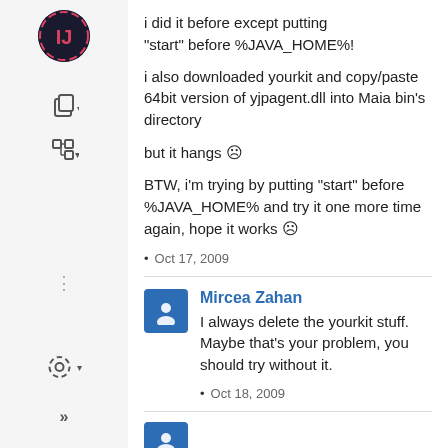[Figure (screenshot): IDE sidebar with logo, icons, gear and arrows]
i did it before except putting "start" before %JAVA_HOME%!
i also downloaded yourkit and copy/paste 64bit version of yjpagent.dll into Maia bin's directory
but it hangs ☹
BTW, i'm trying by putting "start" before %JAVA_HOME% and try it one more time again, hope it works ☹
• Oct 17, 2009
Mircea Zahan
I always delete the yourkit stuff. Maybe that's your problem, you should try without it.
• Oct 18, 2009